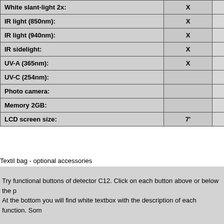| Feature | Col2 | Col3 |
| --- | --- | --- |
| White slant-light 2x: | X |  |
| IR light (850nm): | X |  |
| IR light (940nm): | X |  |
| IR sidelight: | X |  |
| UV-A (365nm): | X |  |
| UV-C (254nm): |  |  |
| Photo camera: |  |  |
| Memory 2GB: |  |  |
| LCD screen size: | 7' |  |
Textil bag - optional accessories
Try functional buttons of detector C12. Click on each button above or below the p
At the bottom you will find white textbox with the description of each function. Som